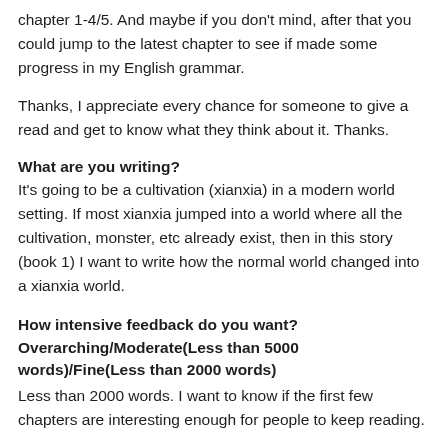chapter 1-4/5. And maybe if you don't mind, after that you could jump to the latest chapter to see if made some progress in my English grammar.
Thanks, I appreciate every chance for someone to give a read and get to know what they think about it. Thanks.
What are you writing?
It's going to be a cultivation (xianxia) in a modern world setting. If most xianxia jumped into a world where all the cultivation, monster, etc already exist, then in this story (book 1) I want to write how the normal world changed into a xianxia world.
How intensive feedback do you want? Overarching/Moderate(Less than 5000 words)/Fine(Less than 2000 words)
Less than 2000 words. I want to know if the first few chapters are interesting enough for people to keep reading.